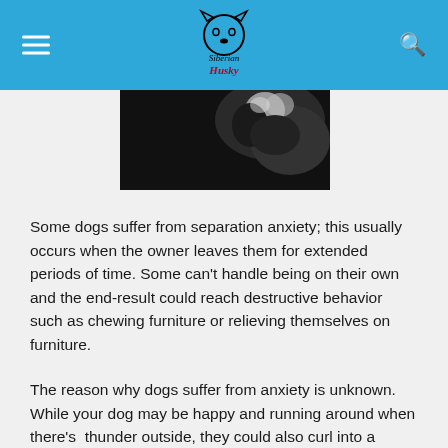Siberian Husky
[Figure (photo): Close-up black and white photo of a dog (husky) from above, partially visible at top of content area]
Some dogs suffer from separation anxiety; this usually occurs when the owner leaves them for extended periods of time. Some can't handle being on their own and the end-result could reach destructive behavior such as chewing furniture or relieving themselves on furniture.
The reason why dogs suffer from anxiety is unknown. While your dog may be happy and running around when there's  thunder outside, they could also curl into a shivering ball in the corner. The most important thing you must refrain from doing is trying to calm your dog when they become anxious. By giving them attention and